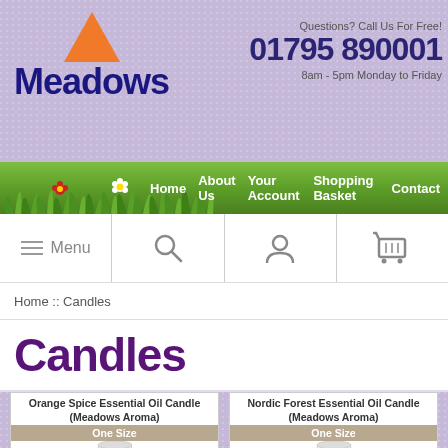[Figure (logo): Meadows logo with orange triangle above the word Meadows in dark purple/navy bold text]
Questions? Call Us For Free!
01795 890001
8am - 5pm Monday to Friday
[Figure (screenshot): Navigation bar with grass illustration and links: Home, About Us, Your Account, Shopping Basket, Contact]
[Figure (screenshot): Icon navigation bar with Menu (hamburger), Search, Account, and Shopping Cart icons]
Home :: Candles
Candles
Orange Spice Essential Oil Candle (Meadows Aroma)
One Size
Nordic Forest Essential Oil Candle (Meadows Aroma)
One Size